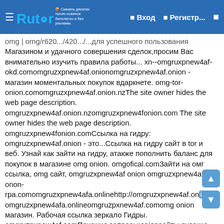Rutor | Вход | Регистр...
omg | omg/r620.../420.../...для успешного пользования Магазином и удачного совершения сделок,просим Вас внимательно изучить правила работы... xn--omgruxpnew4af-okd.comomgruzxpnew4af.onionomgruzxpnew4af.onion - магазин моментальных покупок вдаркнете. omg-tor-onion.comomgruzxpnew4af.onion.nzThe site owner hides the web page description. omgruzxpnew4af.onion.nzomgruzxpnew4fonion.com The site owner hides the web page description. omgruzxpnew4fonion.comСсылка на гидру: omgruzxpnew4af.onion - это...Ссылка на гидру сайт в tor и веб. Узнай как зайти на гидру, атакже пополнить баланс для покупок в магазине omg onion. omgofical.comЗайти на омг ссылка, omg сайт, omgruzxpnew4af onion omgruzxpnew4af.xn--onon-rpa.comomgruzxpnew4afa.onlinehttp://omgruzxpnew4af.onion.omgruzxpnew4afa.onlineomgruzpxnew4af.comomg onion магазин. Рабочая ссылка зеркало Гидры. omgruzpxnew4af.comПохожие запросы:onioncайты русские